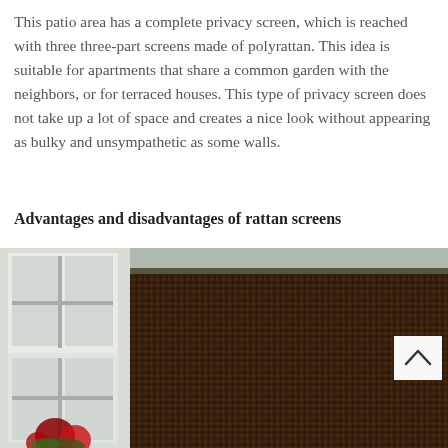This patio area has a complete privacy screen, which is reached with three three-part screens made of polyrattan. This idea is suitable for apartments that share a common garden with the neighbors, or for terraced houses. This type of privacy screen does not take up a lot of space and creates a nice look without appearing as bulky and unsympathetic as some walls.
Advantages and disadvantages of rattan screens
[Figure (photo): A dark brown woven polyrattan privacy screen panel standing outdoors between white window frames and a stone wall, with red flowers visible at the bottom left. A white scroll-up button with a caret icon is visible at the right side.]